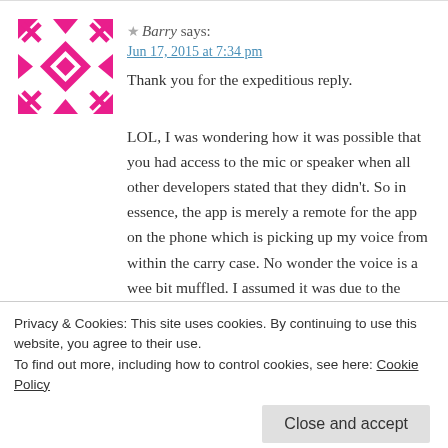[Figure (illustration): Pink geometric quilt-pattern avatar icon for user Barry]
★ Barry says:
Jun 17, 2015 at 7:34 pm
Thank you for the expeditious reply.
LOL, I was wondering how it was possible that you had access to the mic or speaker when all other developers stated that they didn't. So in essence, the app is merely a remote for the app on the phone which is picking up my voice from within the carry case. No wonder the voice is a wee bit muffled. I assumed it was due to the grade of mic and compromizes on audio quality
Privacy & Cookies: This site uses cookies. By continuing to use this website, you agree to their use.
To find out more, including how to control cookies, see here: Cookie Policy
Close and accept